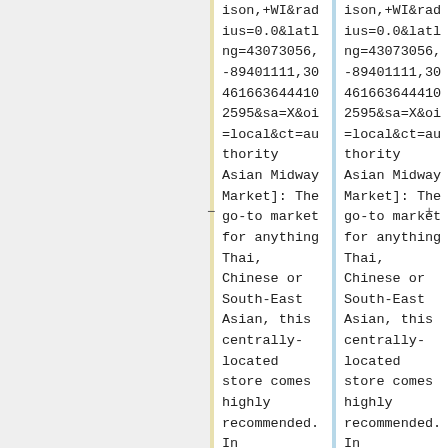ison,+WI&radius=0.0&latlng=43073056,-89401111,3046166364441 02595&sa=X&oi=local&ct=authority Asian Midway Market]: The go-to market for anything Thai, Chinese or South-East Asian, this centrally-located store comes highly recommended. In
ison,+WI&radius=0.0&latlng=43073056,-89401111,3046166364441 02595&sa=X&oi=local&ct=authority Asian Midway Market]: The go-to market for anything Thai, Chinese or South-East Asian, this centrally-located store comes highly recommended. In